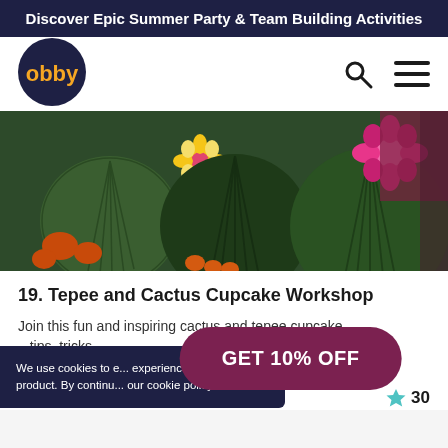Discover Epic Summer Party & Team Building Activities
[Figure (logo): Obby logo — dark navy circle with orange bold text 'obby']
[Figure (photo): Close-up photo of cactus-shaped cupcakes decorated with green buttercream ridges and colorful fondant flowers (yellow, pink, orange)]
19. Tepee and Cactus Cupcake Workshop
Join this fun and inspiring cactus and tepee cupcake ...tips, tricks ...class This...
We use cookies to e... experience, improv... product. By continu... our cookie policy.
GET 10% OFF
£48
30